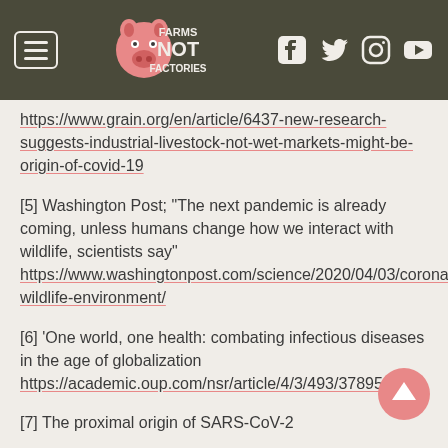[Figure (logo): Farms Not Factories website header with hamburger menu, pig logo, and social media icons (Facebook, Twitter, Instagram, YouTube)]
https://www.grain.org/en/article/6437-new-research-suggests-industrial-livestock-not-wet-markets-might-be-origin-of-covid-19
[5] Washington Post; "The next pandemic is already coming, unless humans change how we interact with wildlife, scientists say" https://www.washingtonpost.com/science/2020/04/03/coronavirus-wildlife-environment/
[6] 'One world, one health: combating infectious diseases in the age of globalization https://academic.oup.com/nsr/article/4/3/493/3789515
[7] The proximal origin of SARS-CoV-2